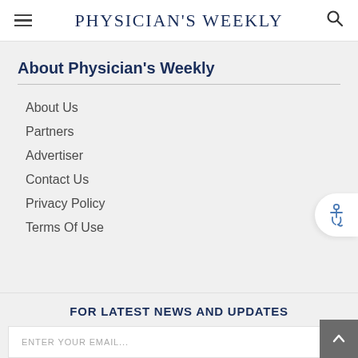Physician's Weekly
About Physician's Weekly
About Us
Partners
Advertiser
Contact Us
Privacy Policy
Terms Of Use
FOR LATEST NEWS AND UPDATES
ENTER YOUR EMAIL...